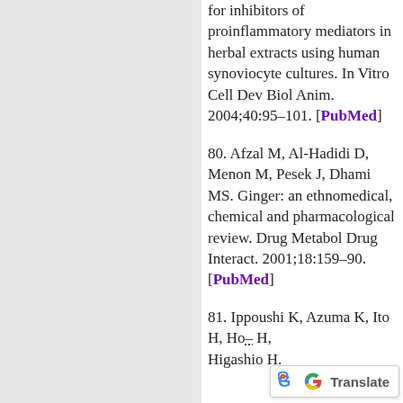for inhibitors of proinflammatory mediators in herbal extracts using human synoviocyte cultures. In Vitro Cell Dev Biol Anim. 2004;40:95–101. [PubMed]
80. Afzal M, Al-Hadidi D, Menon M, Pesek J, Dhami MS. Ginger: an ethnomedical, chemical and pharmacological review. Drug Metabol Drug Interact. 2001;18:159–90. [PubMed]
81. Ippoushi K, Azuma K, Ito H, Ho– H, Higashio H.